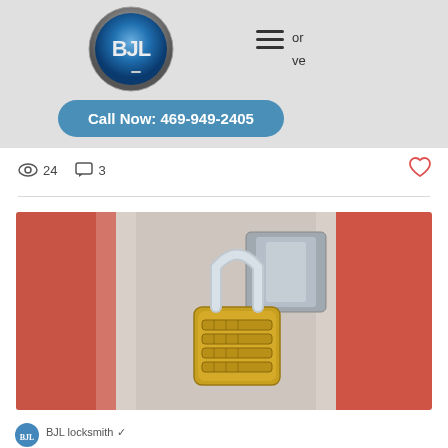[Figure (logo): Blue circular locksmith company logo with stylized letters BJL and a key icon]
or
ve
[Figure (infographic): Hamburger menu icon (three horizontal lines)]
Call Now: 469-949-2405
24
3
[Figure (photo): Close-up photo of a brass combination padlock on an orange storage unit door latch, with blurred orange storage units in background]
[Figure (logo): Small blue circular BJL logo at the bottom]